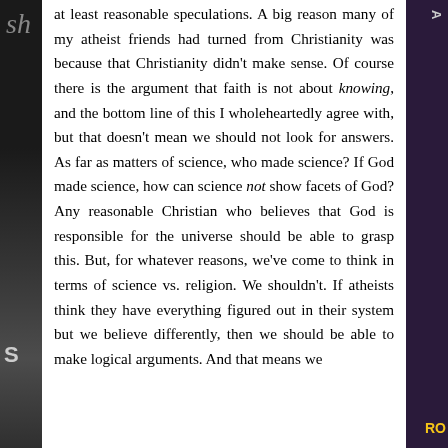at least reasonable speculations. A big reason many of my atheist friends had turned from Christianity was because that Christianity didn't make sense. Of course there is the argument that faith is not about knowing, and the bottom line of this I wholeheartedly agree with, but that doesn't mean we should not look for answers. As far as matters of science, who made science? If God made science, how can science not show facets of God? Any reasonable Christian who believes that God is responsible for the universe should be able to grasp this. But, for whatever reasons, we've come to think in terms of science vs. religion. We shouldn't. If atheists think they have everything figured out in their system but we believe differently, then we should be able to make logical arguments. And that means we